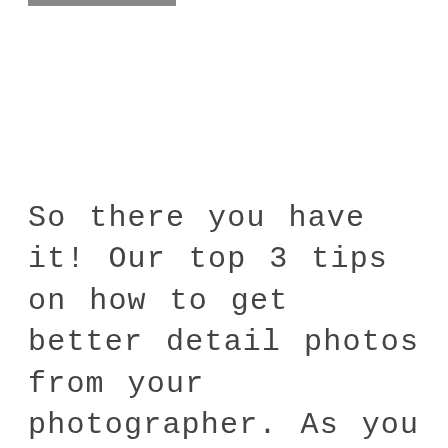So there you have it! Our top 3 tips on how to get better detail photos from your photographer. As you can see, there's so much that goes into capturing the wedding couple's vision that you and